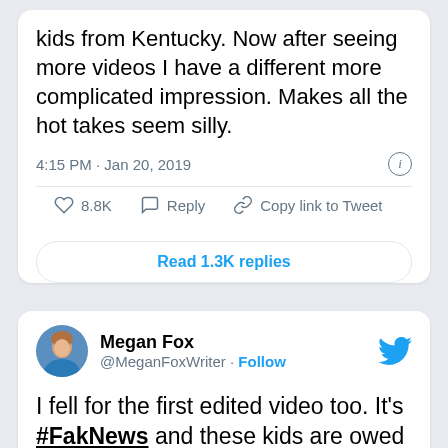kids from Kentucky. Now after seeing more videos I have a different more complicated impression. Makes all the hot takes seem silly.
4:15 PM · Jan 20, 2019
8.8K   Reply   Copy link to Tweet
Read 1.3K replies
Megan Fox @MeganFoxWriter · Follow
I fell for the first edited video too. It's #FakNews and these kids are owed a big apology
6:41
[Figure (screenshot): Advertisement overlay: HOW PROGRESSIVES SOLD OUT RURAL TOWNS TO FOREIGN DRUG LORDS - NARCOFORNIA - WATCH NOW button]
361   Reply   Copy link to Tweet